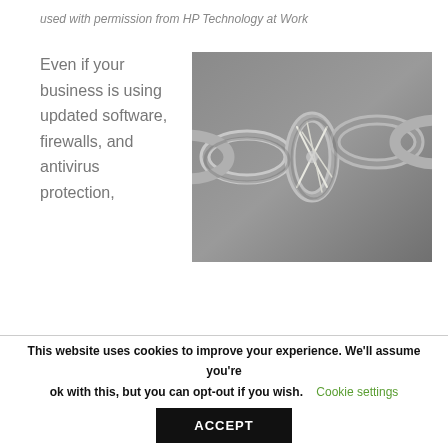used with permission from HP Technology at Work
Even if your business is using updated software, firewalls, and antivirus protection,
[Figure (photo): Close-up photo of a metal chain with a weak link tied together with thin white string/wire, against a grey background.]
This website uses cookies to improve your experience. We'll assume you're ok with this, but you can opt-out if you wish.
Cookie settings
ACCEPT